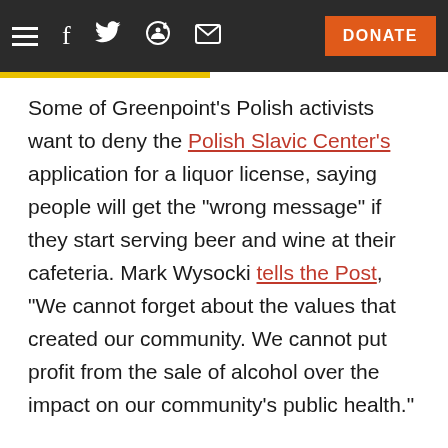DONATE
Some of Greenpoint's Polish activists want to deny the Polish Slavic Center's application for a liquor license, saying people will get the "wrong message" if they start serving beer and wine at their cafeteria. Mark Wysocki tells the Post, "We cannot forget about the values that created our community. We cannot put profit from the sale of alcohol over the impact on our community's public health."
The cafeteria is already known for their big (and cheap) plates of pierogi and glasses of kompot, and PSC CEO Bozena Kaminski says the wine would just